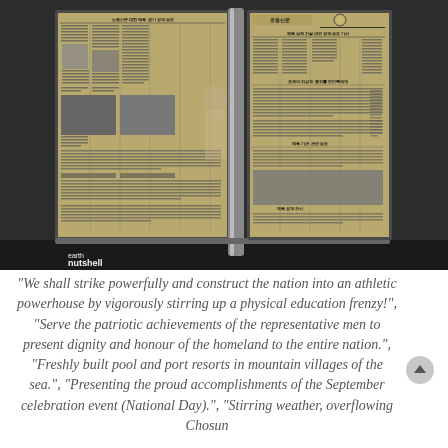[Figure (photo): Photo of North Korean newspaper display boards mounted in a frame in what appears to be a subway station or public building. Two large boards show Korean-language newspapers with text columns and photographs. A metal pole separates the two boards. A watermark reading 'earth nutshell' is visible in the lower left corner.]
“We shall strike powerfully and construct the nation into an athletic powerhouse by vigorously stirring up a physical education frenzy!”, “Serve the patriotic achievements of the representative men to present dignity and honour of the homeland to the entire nation.”, “Freshly built pool and port resorts in mountain villages of the sea.”, “Presenting the proud accomplishments of the September celebration event (National Day).”, “Stirring weather, overflowing Chosun